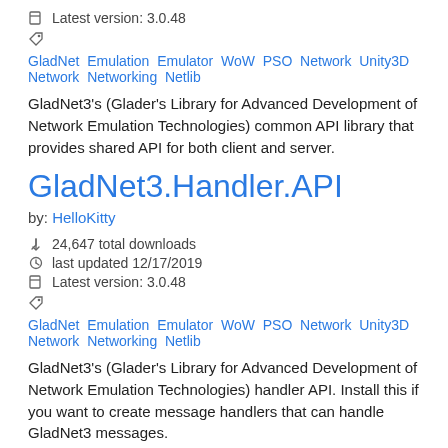Latest version: 3.0.48
GladNet Emulation Emulator WoW PSO Network Unity3D Network Networking Netlib
GladNet3's (Glader's Library for Advanced Development of Network Emulation Technologies) common API library that provides shared API for both client and server.
GladNet3.Handler.API
by: HelloKitty
24,647 total downloads
last updated 12/17/2019
Latest version: 3.0.48
GladNet Emulation Emulator WoW PSO Network Unity3D Network Networking Netlib
GladNet3's (Glader's Library for Advanced Development of Network Emulation Technologies) handler API. Install this if you want to create message handlers that can handle GladNet3 messages.
GladNet3.Server.API